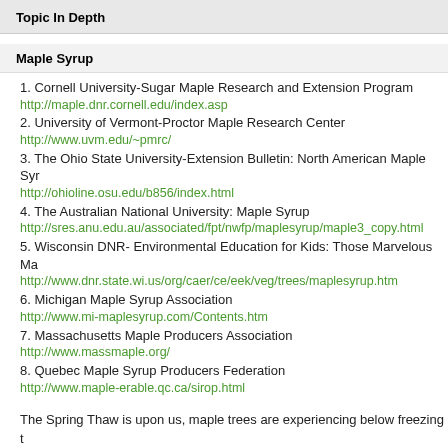Topic In Depth
Maple Syrup
1. Cornell University-Sugar Maple Research and Extension Program
http://maple.dnr.cornell.edu/index.asp
2. University of Vermont-Proctor Maple Research Center
http://www.uvm.edu/~pmrc/
3. The Ohio State University-Extension Bulletin: North American Maple Syrup
http://ohioline.osu.edu/b856/index.html
4. The Australian National University: Maple Syrup
http://sres.anu.edu.au/associated/fpt/nwfp/maplesyrup/maple3_copy.html
5. Wisconsin DNR- Environmental Education for Kids: Those Marvelous Ma...
http://www.dnr.state.wi.us/org/caer/ce/eek/veg/trees/maplesyrup.htm
6. Michigan Maple Syrup Association
http://www.mi-maplesyrup.com/Contents.htm
7. Massachusetts Maple Producers Association
http://www.massmaple.org/
8. Quebec Maple Syrup Producers Federation
http://www.maple-erable.qc.ca/sirop.html
The Spring Thaw is upon us, maple trees are experiencing below freezing temperatures at night and above freezing temperatures by day, signaling a time to cook up some maple syrup is on its way! The following websites cover many aspects of the North American maple syrup tradition. The first site (1) presents Cornell Universit...